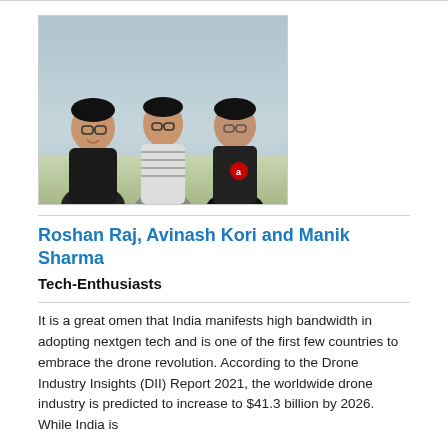[Figure (photo): Photo of three young men standing together outdoors. Left person wears glasses and a dark jacket, middle person wears a striped shirt and glasses, right person wears a black hoodie with a logo and glasses.]
Roshan Raj, Avinash Kori and Manik Sharma
Tech-Enthusiasts
It is a great omen that India manifests high bandwidth in adopting nextgen tech and is one of the first few countries to embrace the drone revolution. According to the Drone Industry Insights (DII) Report 2021, the worldwide drone industry is predicted to increase to $41.3 billion by 2026. While India is